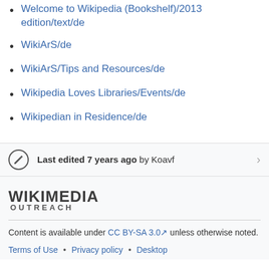Welcome to Wikipedia (Bookshelf)/2013 edition/text/de
WikiArS/de
WikiArS/Tips and Resources/de
Wikipedia Loves Libraries/Events/de
Wikipedian in Residence/de
Last edited 7 years ago by Koavf
[Figure (logo): Wikimedia Outreach logo with bold text WIKIMEDIA and OUTREACH below]
Content is available under CC BY-SA 3.0 unless otherwise noted.
Terms of Use • Privacy policy • Desktop